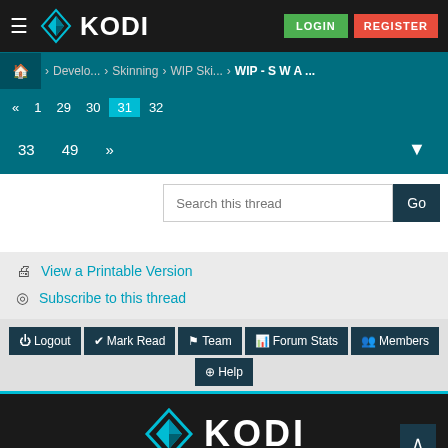KODI - LOGIN - REGISTER
Home > Develo... > Skinning > WIP Ski... > WIP - S W A ...
« 1 29 30 31 32 33 49 »
[Figure (screenshot): Pagination controls with page numbers and down arrow button]
[Figure (screenshot): Search this thread input box with Go button]
View a Printable Version
Subscribe to this thread
Logout  Mark Read  Team  Forum Stats  Members  Help
[Figure (logo): Kodi logo at bottom of page]